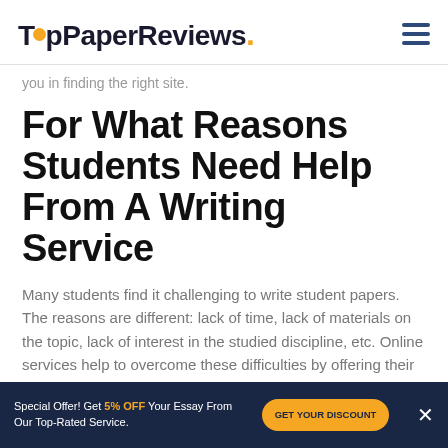TopPaperReviews.
you in finding the right site.
For What Reasons Students Need Help From A Writing Service
Many students find it challenging to write student papers. The reasons are different: lack of time, lack of materials on the topic, lack of interest in the studied discipline, etc. Online services help to overcome these difficulties by offering their services successfully. The company's primary goal is to provide information and consult
Special Offer! Get 5% OFF Your Essay From Our Top-Rated Service. GET YOUR DISCOUNT ×